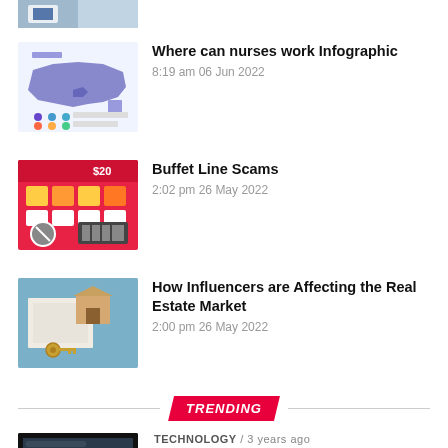[Figure (photo): Partial top image cropped at top of page]
[Figure (infographic): USA map infographic thumbnail - Where can nurses work]
Where can nurses work Infographic
8:19 am 06 Jun 2022
[Figure (infographic): Red buffet line scams infographic thumbnail with $20 text]
Buffet Line Scams
2:02 pm 26 May 2022
[Figure (photo): How influencers are affecting real estate market - house keys photo]
How Influencers are Affecting the Real Estate Market
2:00 pm 26 May 2022
TRENDING
[Figure (screenshot): RARBG proxy website screenshot thumbnail]
TECHNOLOGY / 3 years ago
RARBG Proxy – Best RARBG Proxy Sites & Mirrors sites